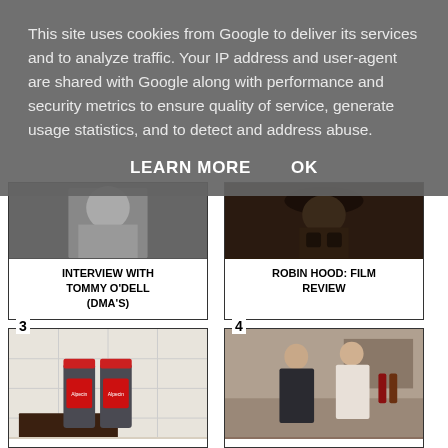This site uses cookies from Google to deliver its services and to analyze traffic. Your IP address and user-agent are shared with Google along with performance and security metrics to ensure quality of service, generate usage statistics, and to detect and address abuse.
LEARN MORE    OK
[Figure (photo): Black and white photo of a person, partially visible, upper body]
INTERVIEW WITH TOMMY O'DELL (DMA'S)
[Figure (photo): Dark photo of a person wearing a hat, holding something, dark background]
ROBIN HOOD: FILM REVIEW
3
[Figure (photo): Photo of Alpecin shampoo bottles on a shelf with coffee beans]
4
[Figure (photo): Photo of a man and woman facing each other in a kitchen/indoor setting]